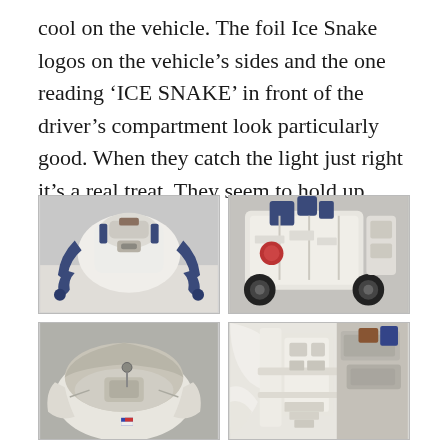cool on the vehicle. The foil Ice Snake logos on the vehicle's sides and the one reading 'ICE SNAKE' in front of the driver's compartment look particularly good. When they catch the light just right it's a real treat. They seem to hold up pretty well, too.
[Figure (photo): Four close-up photos of a white and blue toy vehicle (Ice Snake). Top-left: front view showing blue mechanical arms/claws. Top-right: side/rear view showing wheels and undercarriage. Bottom-left: open interior cabin view from above. Bottom-right: close-up of interior mechanical components.]